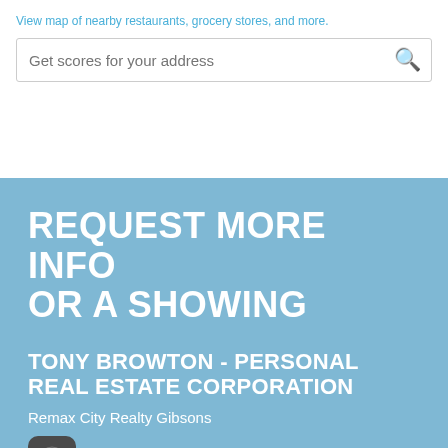View map of nearby restaurants, grocery stores, and more.
Get scores for your address
REQUEST MORE INFO OR A SHOWING
TONY BROWTON - PERSONAL REAL ESTATE CORPORATION
Remax City Realty Gibsons
1-938 Gibsons Way Gibsons BC V0N 1V7